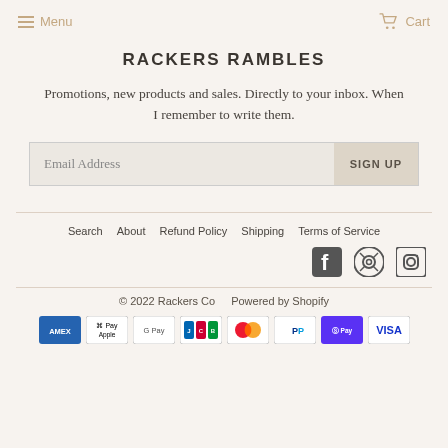Menu  Cart
RACKERS RAMBLES
Promotions, new products and sales. Directly to your inbox. When I remember to write them.
Email Address  SIGN UP
Search  About  Refund Policy  Shipping  Terms of Service
[Figure (illustration): Social media icons: Facebook, Pinterest, Instagram]
© 2022 Rackers Co  Powered by Shopify
[Figure (illustration): Payment method icons: Amex, Apple Pay, Google Pay, JCB, Mastercard, PayPal, Shop Pay, Visa]